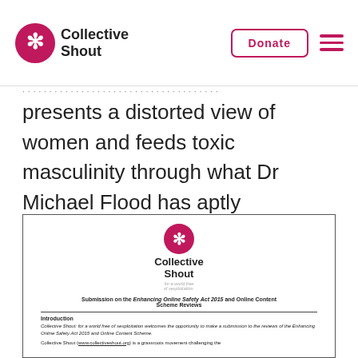Collective Shout [logo] | Donate | Menu
presents a distorted view of women and feeds toxic masculinity through what Dr Michael Flood has aptly described as “rape training”.
[Figure (other): Document preview showing Collective Shout submission cover page. Contains the Collective Shout logo with the text 'for a world free of sexploitation', the title 'Submission on the Enhancing Online Safety Act 2015 and Online Content Scheme Reviews', a horizontal rule, an 'Introduction' section header, and the beginning of body text in italic describing Collective Shout's submission and grassroots movement.]